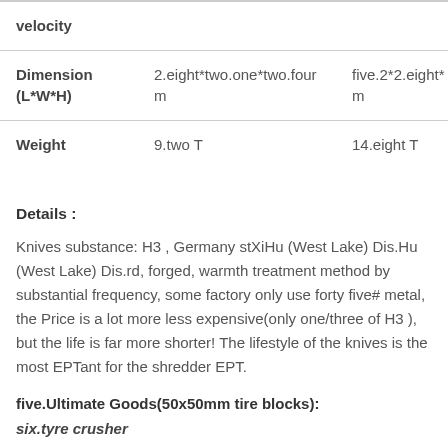|  |  |  |
| --- | --- | --- |
| velocity |  |  |
| Dimension (L*W*H) | 2.eight*two.one*two.four m | five.2*2.eight* m |
| Weight | 9.two T | 14.eight T |
Details :
Knives substance: H3 , Germany stXiHu (West Lake) Dis.Hu (West Lake) Dis.rd, forged, warmth treatment method by substantial frequency, some factory only use forty five# metal, the Price is a lot more less expensive(only one/three of H3 ), but the life is far more shorter! The lifestyle of the knives is the most EPTant for the shredder EPT.
five.Ultimate Goods(50x50mm tire blocks):
six.tyre crusher